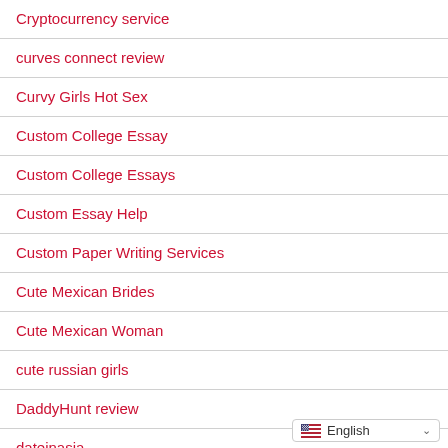Cryptocurrency service
curves connect review
Curvy Girls Hot Sex
Custom College Essay
Custom College Essays
Custom Essay Help
Custom Paper Writing Services
Cute Mexican Brides
Cute Mexican Woman
cute russian girls
DaddyHunt review
dateinasia